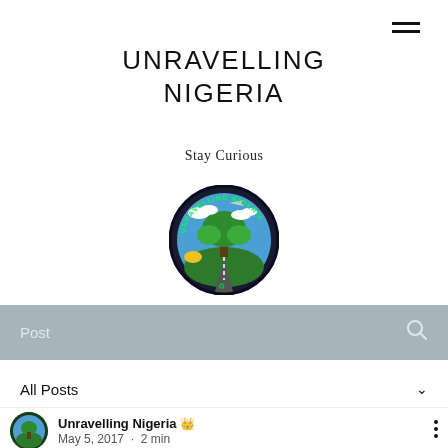UNRAVELLING NIGERIA
Stay Curious
[Figure (logo): Circular logo for Unravelling Nigeria with text around the border, featuring a green tree, road, sky and clouds in the center]
Post
All Posts
Unravelling Nigeria [crown icon] May 5, 2017 · 2 min